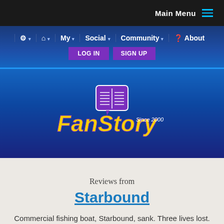Main Menu
[Figure (screenshot): FanStory website navigation bar with links: settings, home, My, Social, Community, About, and LOG IN / SIGN UP buttons]
[Figure (logo): FanStory logo with open book icon and 'Since 2000' text on blue background]
Reviews from
Starbound
Commercial fishing boat, Starbound, sank. Three lives lost.
8 total reviews